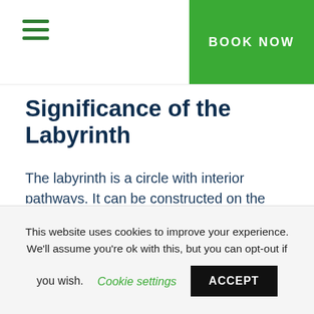BOOK NOW
Significance of the Labyrinth
The labyrinth is a circle with interior pathways. It can be constructed on the ground in gardens and cathedrals, inscribed in stone or printed on paper. It's an ancient universal symbol not tied to any particular culture, faith or tradition. It looks a bit like a maze which has dead ends. A labyrinth has no dead
This website uses cookies to improve your experience. We'll assume you're ok with this, but you can opt-out if you wish. Cookie settings ACCEPT